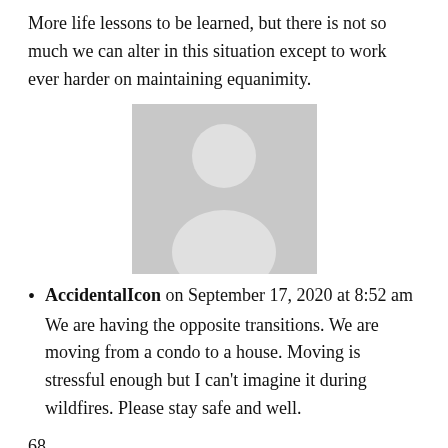More life lessons to be learned, but there is not so much we can alter in this situation except to work ever harder on maintaining equanimity.
[Figure (illustration): Generic avatar/placeholder person silhouette icon on grey background]
AccidentalIcon on September 17, 2020 at 8:52 am
We are having the opposite transitions. We are moving from a condo to a house. Moving is stressful enough but I can't imagine it during wildfires. Please stay safe and well.
68.
[Figure (illustration): Generic avatar/placeholder person silhouette icon on grey background]